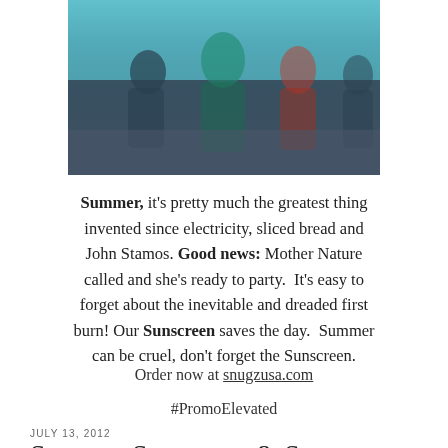[Figure (photo): Photo of group of people outdoors with teal/blue-green background suggesting summer activity]
Summer, it's pretty much the greatest thing invented since electricity, sliced bread and John Stamos. Good news: Mother Nature called and she's ready to party. It's easy to forget about the inevitable and dreaded first burn! Our Sunscreen saves the day. Summer can be cruel, don't forget the Sunscreen.
Order now at snugzusa.com
#PromoElevated
JULY 13, 2012
Summer Sweetness & Sun Protection